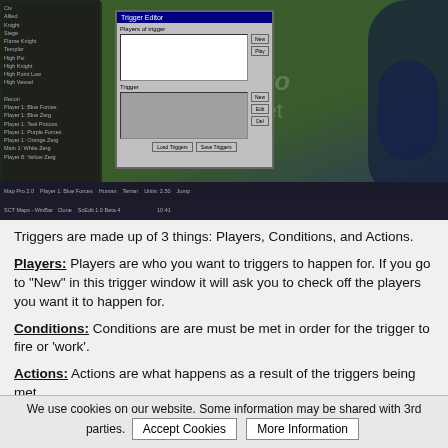[Figure (screenshot): Screenshot of a StarCraft map editor showing a trigger editor dialog box with Players, Conditions, and Actions sections, overlaid on a game map view with terrain and units. A Photobucket watermark is visible over the image.]
Triggers are made up of 3 things: Players, Conditions, and Actions.
Players: Players are who you want to triggers to happen for. If you go to "New" in this trigger window it will ask you to check off the players you want it to happen for.
Conditions: Conditions are are must be met in order for the trigger to fire or 'work'.
Actions: Actions are what happens as a result of the triggers being met.
[Figure (screenshot): Partial screenshot of a browser/application toolbar at the bottom of the page.]
We use cookies on our website. Some information may be shared with 3rd parties. Accept Cookies  More Information